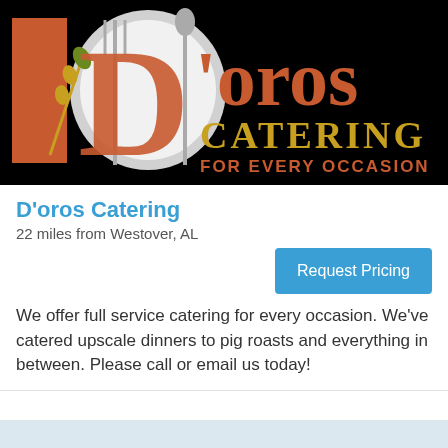[Figure (logo): D'oros Catering logo on black background — stylized letter D with plate, fork and spoon graphic in red and gold, with text 'D'oros CATERING FOR EVERY OCCASION']
D'oros Catering
22 miles from Westover, AL
Request Pricing
We offer full service catering for every occasion. We've catered upscale dinners to pig roasts and everything in between. Please call or email us today!